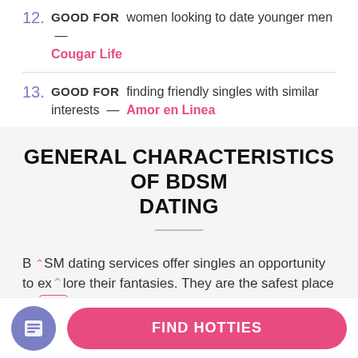12. GOOD FOR women looking to date younger men — Cougar Life
13. GOOD FOR finding friendly singles with similar interests — Amor en Linea
GENERAL CHARACTERISTICS OF BDSM DATING
BDSM dating services offer singles an opportunity to explore their fantasies. They are the safest place to meet individuals with fetishes and kinks similar to yours.
[Figure (other): Footer bar with a purple circular icon button and a pink 'FIND HOTTIES' pill button]